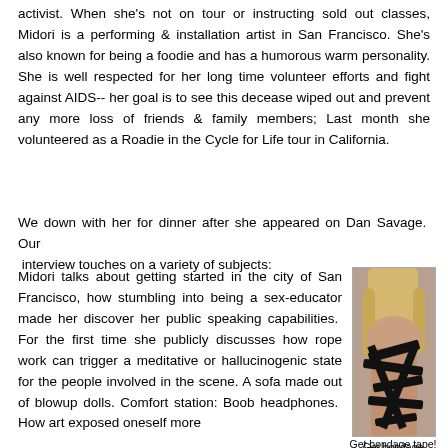activist. When she's not on tour or instructing sold out classes, Midori is a performing & installation artist in San Francisco. She's also known for being a foodie and has a humorous warm personality. She is well respected for her long time volunteer efforts and fight against AIDS-- her goal is to see this decease wiped out and prevent any more loss of friends & family members; Last month she volunteered as a Roadie in the Cycle for Life tour in California.
We down with her for dinner after she appeared on Dan Savage.  Our  interview touches on a variety of subjects: Midori talks about getting started in the city of San Francisco, how stumbling into being a sex-educator made her discover her public speaking capabilities.  For the first time she publicly discusses how rope work can trigger a meditative or hallucinogenic state for the people involved in the scene. A sofa made out of blowup dolls. Comfort station: Boob headphones.  How art exposed oneself more
[Figure (photo): A woman with long blonde hair seen from the back, wrapped in black bondage tape around her torso.]
Get bondage tape!